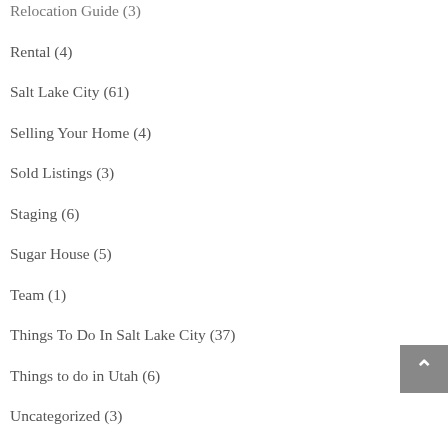Relocation Guide (3)
Rental (4)
Salt Lake City (61)
Selling Your Home (4)
Sold Listings (3)
Staging (6)
Sugar House (5)
Team (1)
Things To Do In Salt Lake City (37)
Things to do in Utah (6)
Uncategorized (3)
Vacation Home (1)
Vintage Homes (1)
YourHome (35)
YourLifestyle (46)